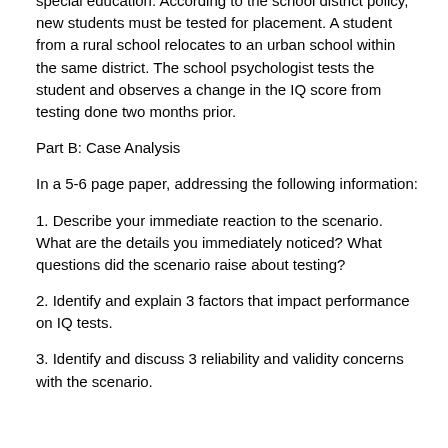special education. According to the school district policy, new students must be tested for placement. A student from a rural school relocates to an urban school within the same district. The school psychologist tests the student and observes a change in the IQ score from testing done two months prior.
Part B: Case Analysis
In a 5-6 page paper, addressing the following information:
1. Describe your immediate reaction to the scenario. What are the details you immediately noticed? What questions did the scenario raise about testing?
2. Identify and explain 3 factors that impact performance on IQ tests.
3. Identify and discuss 3 reliability and validity concerns with the scenario.